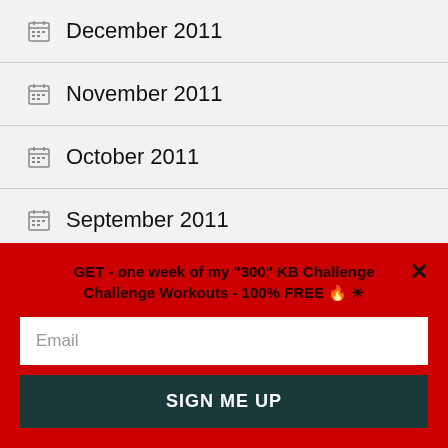December 2011
November 2011
October 2011
September 2011
August 2011
July 2011
GET - one week of my "300" KB Challenge Challenge Workouts - 100% FREE 🔥 ☀️
Email
SIGN ME UP